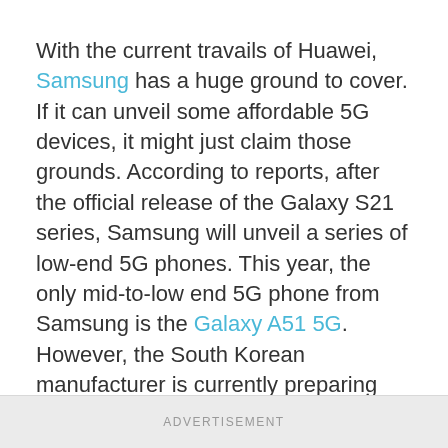With the current travails of Huawei, Samsung has a huge ground to cover. If it can unveil some affordable 5G devices, it might just claim those grounds. According to reports, after the official release of the Galaxy S21 series, Samsung will unveil a series of low-end 5G phones. This year, the only mid-to-low end 5G phone from Samsung is the Galaxy A51 5G. However, the South Korean manufacturer is currently preparing the likes of Galaxy A32, Galaxy A52, and Galaxy A72. Unlike the latest high-end models, these mid- and low-end models will still retain the 3.5 mm headphone jack.
ADVERTISEMENT